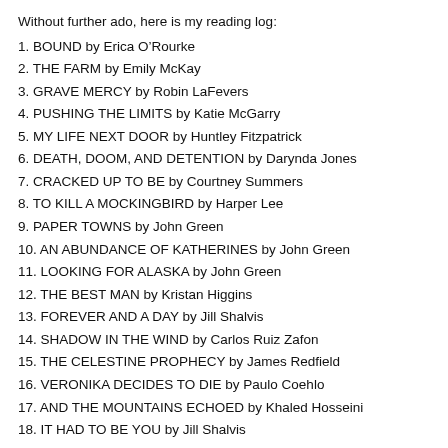Without further ado, here is my reading log:
1. BOUND by Erica O'Rourke
2. THE FARM by Emily McKay
3. GRAVE MERCY by Robin LaFevers
4. PUSHING THE LIMITS by Katie McGarry
5. MY LIFE NEXT DOOR by Huntley Fitzpatrick
6. DEATH, DOOM, AND DETENTION by Darynda Jones
7. CRACKED UP TO BE by Courtney Summers
8. TO KILL A MOCKINGBIRD by Harper Lee
9. PAPER TOWNS by John Green
10. AN ABUNDANCE OF KATHERINES by John Green
11. LOOKING FOR ALASKA by John Green
12. THE BEST MAN by Kristan Higgins
13. FOREVER AND A DAY by Jill Shalvis
14. SHADOW IN THE WIND by Carlos Ruiz Zafon
15. THE CELESTINE PROPHECY by James Redfield
16. VERONIKA DECIDES TO DIE by Paulo Coehlo
17. AND THE MOUNTAINS ECHOED by Khaled Hosseini
18. IT HAD TO BE YOU by Jill Shalvis